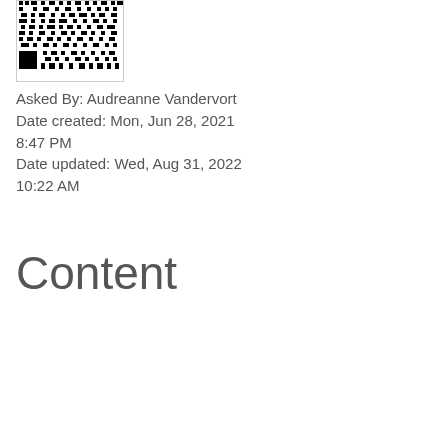[Figure (other): QR code image, black and white, partial view cropped at top]
Asked By: Audreanne Vandervort
Date created: Mon, Jun 28, 2021 8:47 PM
Date updated: Wed, Aug 31, 2022 10:22 AM
Content